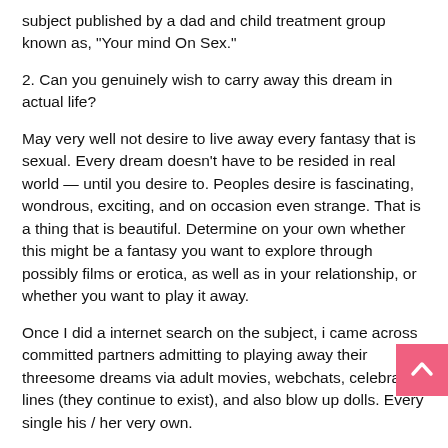subject published by a dad and child treatment group known as, "Your mind On Sex."
2. Can you genuinely wish to carry away this dream in actual life?
May very well not desire to live away every fantasy that is sexual. Every dream doesn't have to be resided in real world — until you desire to. Peoples desire is fascinating, wondrous, exciting, and on occasion even strange. That is a thing that is beautiful. Determine on your own whether this might be a fantasy you want to explore through possibly films or erotica, as well as in your relationship, or whether you want to play it away.
Once I did a internet search on the subject, i came across committed partners admitting to playing away their threesome dreams via adult movies, webchats, celebration lines (they continue to exist), and also blow up dolls. Every single his / her very own.